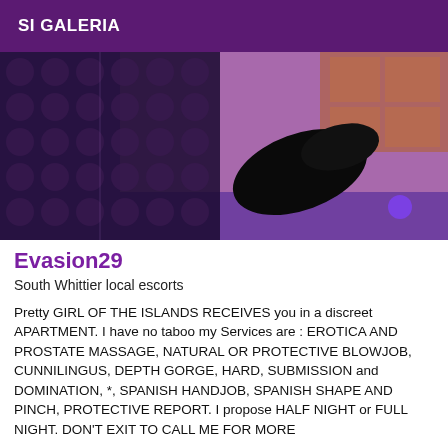SI GALERIA
[Figure (photo): Close-up photo of person wearing fishnet stockings and black heels, taken from a low angle in a room with purple lighting]
Evasion29
South Whittier local escorts
Pretty GIRL OF THE ISLANDS RECEIVES you in a discreet APARTMENT. I have no taboo my Services are : EROTICA AND PROSTATE MASSAGE, NATURAL OR PROTECTIVE BLOWJOB, CUNNILINGUS, DEPTH GORGE, HARD, SUBMISSION and DOMINATION, *, SPANISH HANDJOB, SPANISH SHAPE AND PINCH, PROTECTIVE REPORT. I propose HALF NIGHT or FULL NIGHT. DON'T EXIT TO CALL ME FOR MORE